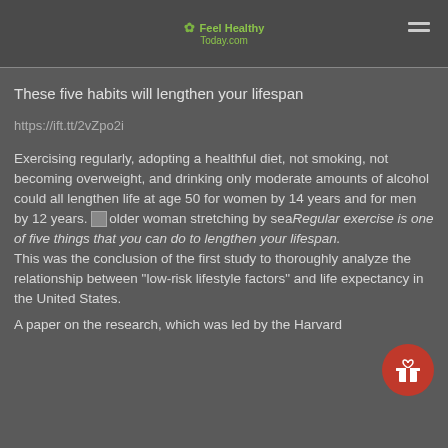Feel Healthy Today.com
These five habits will lengthen your lifespan
https://ift.tt/2vZpo2i
Exercising regularly, adopting a healthful diet, not smoking, not becoming overweight, and drinking only moderate amounts of alcohol could all lengthen life at age 50 for women by 14 years and for men by 12 years.
Regular exercise is one of five things that you can do to lengthen your lifespan.
This was the conclusion of the first study to thoroughly analyze the relationship between "low-risk lifestyle factors" and life expectancy in the United States.
A paper on the research, which was led by the Harvard